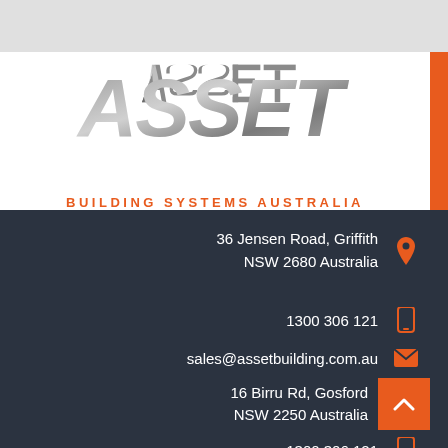[Figure (logo): ASSET Building Systems Australia logo — large stylized grey metallic 'ASSET' lettering above orange text 'BUILDING SYSTEMS AUSTRALIA']
36 Jensen Road, Griffith
NSW 2680 Australia
1300 306 121
sales@assetbuilding.com.au
16 Birru Rd, Gosford
NSW 2250 Australia
1300 306 121